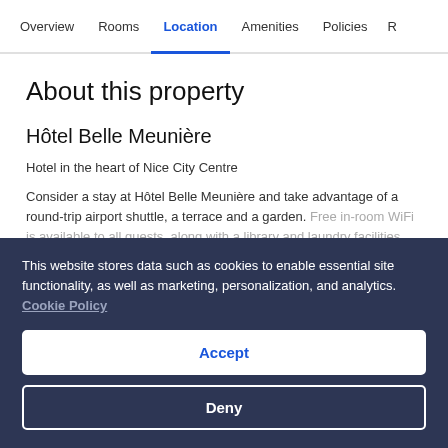Overview  Rooms  Location  Amenities  Policies  R
About this property
Hôtel Belle Meunière
Hotel in the heart of Nice City Centre
Consider a stay at Hôtel Belle Meunière and take advantage of a round-trip airport shuttle, a terrace and a garden. Free in-room WiFi is available to all guests, along with a library and laundry facilities.
This website stores data such as cookies to enable essential site functionality, as well as marketing, personalization, and analytics. Cookie Policy
Accept
Deny